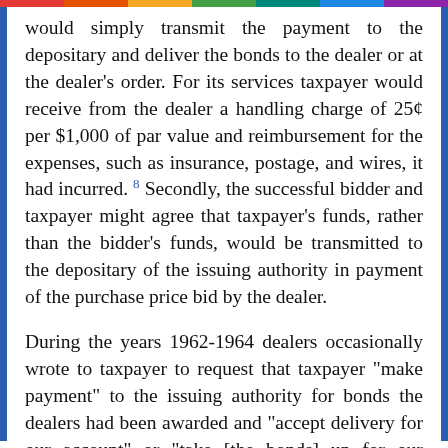would simply transmit the payment to the depositary and deliver the bonds to the dealer or at the dealer's order. For its services taxpayer would receive from the dealer a handling charge of 25¢ per $1,000 of par value and reimbursement for the expenses, such as insurance, postage, and wires, it had incurred. 8 Secondly, the successful bidder and taxpayer might agree that taxpayer's funds, rather than the bidder's funds, would be transmitted to the depositary of the issuing authority in payment of the purchase price bid by the dealer.
During the years 1962-1964 dealers occasionally wrote to taxpayer to request that taxpayer "make payment" to the issuing authority for bonds the dealers had been awarded and "accept delivery for our account" or "take [the bonds] up for our account." Usually, however, communications between the parties were by telephone. Taxpayer and the dealers made no written agreements